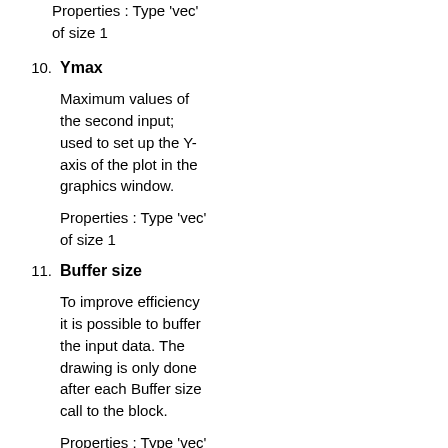Properties : Type 'vec' of size 1
10. Ymax
Maximum values of the second input; used to set up the Y-axis of the plot in the graphics window.
Properties : Type 'vec' of size 1
11. Buffer size
To improve efficiency it is possible to buffer the input data. The drawing is only done after each Buffer size call to the block.
Properties : Type 'vec' of size 1